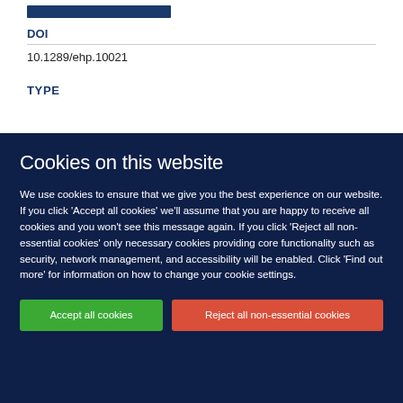DOI
10.1289/ehp.10021
TYPE
Cookies on this website
We use cookies to ensure that we give you the best experience on our website. If you click 'Accept all cookies' we'll assume that you are happy to receive all cookies and you won't see this message again. If you click 'Reject all non-essential cookies' only necessary cookies providing core functionality such as security, network management, and accessibility will be enabled. Click 'Find out more' for information on how to change your cookie settings.
Accept all cookies
Reject all non-essential cookies